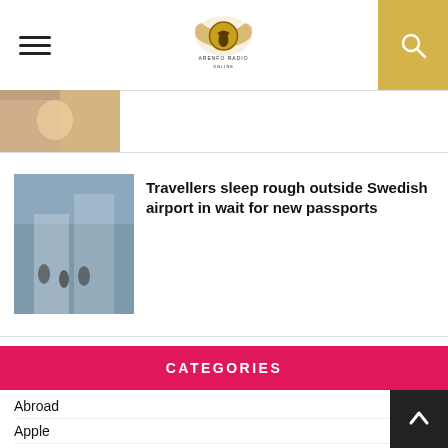Arenfo Radio — navigation header with logo
[Figure (photo): Partial image of an article (truncated at top), showing what appears to be a hand or person.]
Travellers sleep rough outside Swedish airport in wait for new passports
CATEGORIES
Abroad (87)
Apple (8)
Around The World (46)
Beauty (7)
Business (1)
Cars (1)